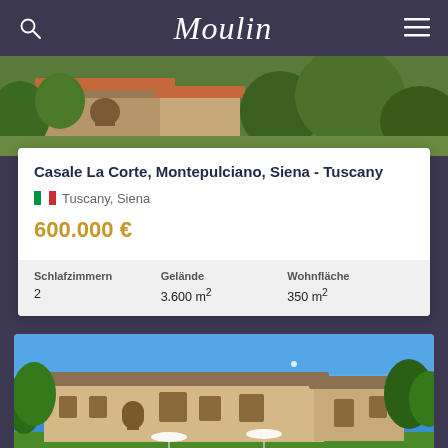Moulin
[Figure (photo): Aerial view of Casale La Corte stone farmhouse with terracotta roof and surrounding greenery in Tuscany]
Casale La Corte, Montepulciano, Siena - Tuscany
Tuscany, Siena
600.000 €
| Schlafzimmern | Gelände | Wohnfläche |
| --- | --- | --- |
| 2 | 3.600 m² | 350 m² |
[Figure (photo): Exterior view of Casale La Corte stone farmhouse with green lawn, trees, and loungers under blue sky]